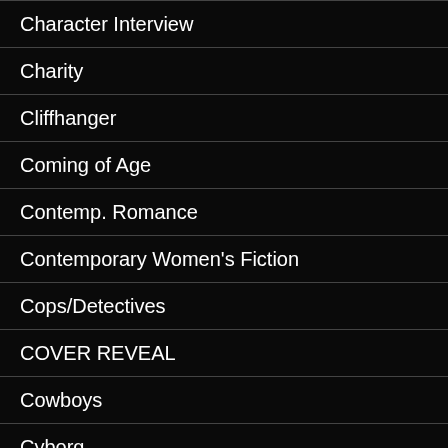Character Interview
Charity
Cliffhanger
Coming of Age
Contemp. Romance
Contemporary Women's Fiction
Cops/Detectives
COVER REVEAL
Cowboys
Cyborg
Daddy Doms
Dark